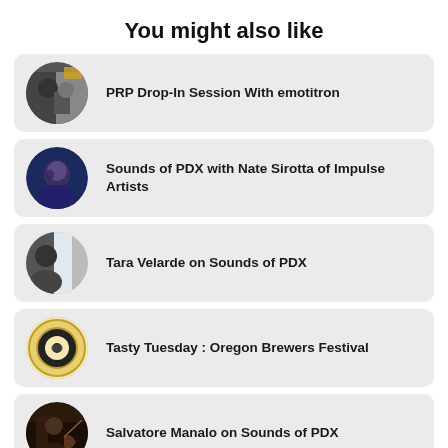You might also like
PRP Drop-In Session With emotitron
Sounds of PDX with Nate Sirotta of Impulse Artists
Tara Velarde on Sounds of PDX
Tasty Tuesday : Oregon Brewers Festival
Salvatore Manalo on Sounds of PDX